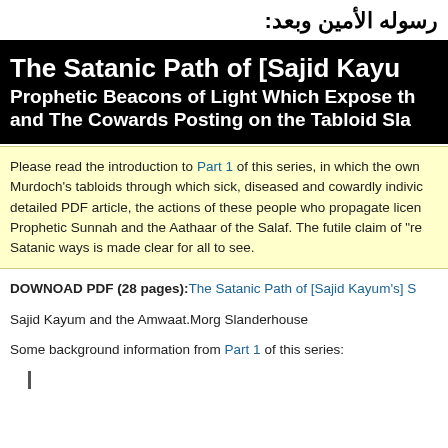رسوله الأمين وبعد:
The Satanic Path of [Sajid Kayu... Prophetic Beacons of Light Which Expose th... and The Cowards Posting on the Tabloid Sla...
Please read the introduction to Part 1 of this series, in which the own... Murdoch's tabloids through which sick, diseased and cowardly individ... detailed PDF article, the actions of these people who propagate licen... Prophetic Sunnah and the Aathaar of the Salaf. The futile claim of "re... Satanic ways is made clear for all to see.
DOWNOAD PDF (28 pages): The Satanic Path of [Sajid Kayum's] S...
Sajid Kayum and the Amwaat.Morg Slanderhouse
Some background information from Part 1 of this series:
|